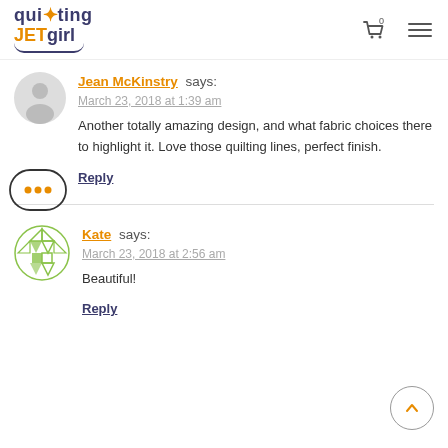quilting JETgirl
Jean McKinstry says:
March 23, 2018 at 1:39 am
Another totally amazing design, and what fabric choices there to highlight it. Love those quilting lines, perfect finish.
Reply
Kate says:
March 23, 2018 at 2:56 am
Beautiful!
Reply